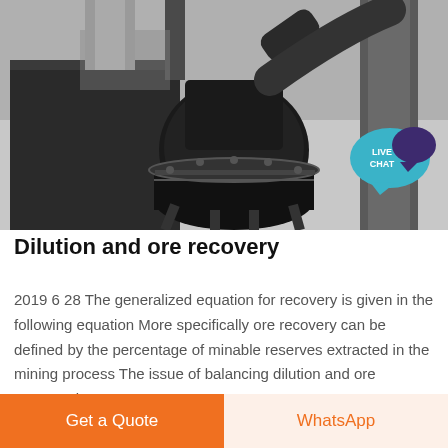[Figure (photo): Industrial mining/processing equipment photo showing large black metal machinery, pipes, tanks and industrial structures in a processing facility. A 'LIVE CHAT' badge is overlaid in the top-right area.]
Dilution and ore recovery
2019 6 28 The generalized equation for recovery is given in the following equation More specifically ore recovery can be defined by the percentage of minable reserves extracted in the mining process The issue of balancing dilution and ore recovery is a